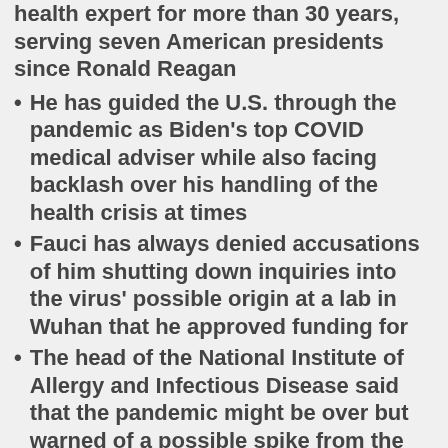health expert for more than 30 years, serving seven American presidents since Ronald Reagan
He has guided the U.S. through the pandemic as Biden's top COVID medical adviser while also facing backlash over his handling of the health crisis at times
Fauci has always denied accusations of him shutting down inquiries into the virus' possible origin at a lab in Wuhan that he approved funding for
The head of the National Institute of Allergy and Infectious Disease said that the pandemic might be over but warned of a possible spike from the BA.2 variant
Dr Anthony Fauci has rowed back on hints that he will soon retire, with 81 year-old saying he thinks the COVID pandemic is still far from over.
Speaking a day after he'd said 'I can't stay in this job forever,' Fauci appeared determined to stay